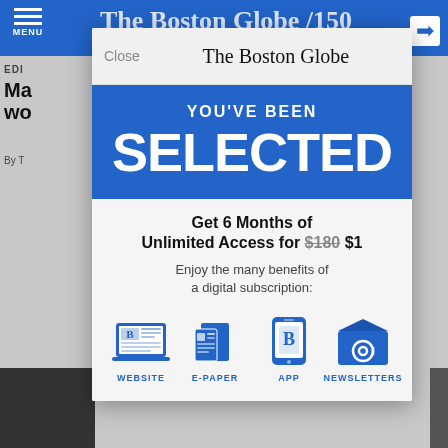[Figure (screenshot): Boston Globe website screenshot showing navigation bar with hamburger menu and title]
[Figure (infographic): Boston Globe subscription modal overlay with 'YOU'VE BEEN SELECTED' headline in blue, offering 6 months of unlimited access for $1, with icons for Website, E-Paper, App, and Newsletters]